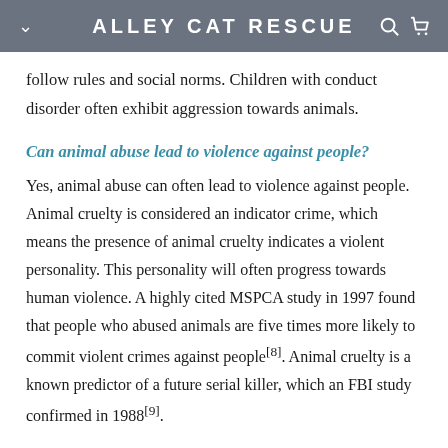ALLEY CAT RESCUE
follow rules and social norms. Children with conduct disorder often exhibit aggression towards animals.
Can animal abuse lead to violence against people?
Yes, animal abuse can often lead to violence against people. Animal cruelty is considered an indicator crime, which means the presence of animal cruelty indicates a violent personality. This personality will often progress towards human violence. A highly cited MSPCA study in 1997 found that people who abused animals are five times more likely to commit violent crimes against people[8]. Animal cruelty is a known predictor of a future serial killer, which an FBI study confirmed in 1988[9].
What can I do about animal cruelty?